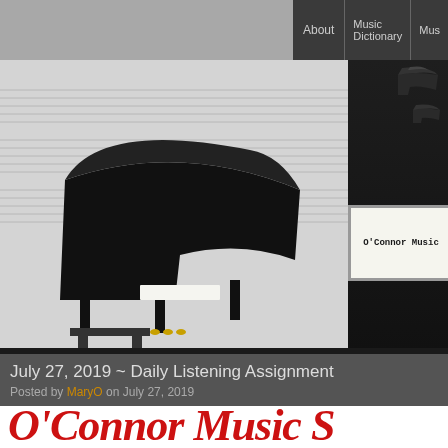About | Music Dictionary | Mus...
[Figure (photo): Website header banner showing a black grand piano on sheet music background on the left, and 'O'Connor Music' text in a bordered box on the right, with dark background and small piano icons]
July 27, 2019 ~ Daily Listening Assignment
Posted by MaryO on July 27, 2019
[Figure (photo): Bottom portion showing 'O'Connor Music S' text in large red italic cursive font on white background]